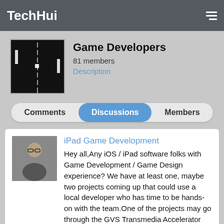TechHui
Game Developers
81 members
Description
Comments | Discussions | Members
iPad Game Development
Hey all,Any iOS / iPad software folks with Game Development / Game Design experience? We have at least one, maybe two projects coming up that could use a local developer who has time to be hands-on with the team.One of the projects may go through the GVS Transmedia Accelerator program on Big…
By Don Kosak
Jan 15, 2015
1